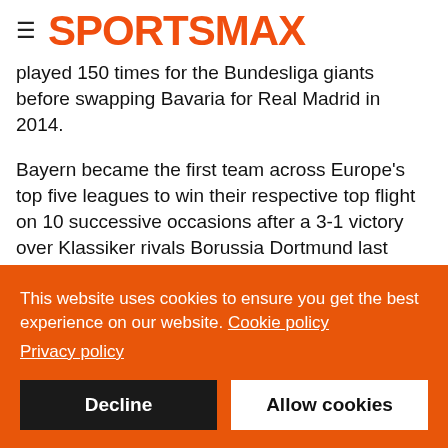SPORTSMAX
played 150 times for the Bundesliga giants before swapping Bavaria for Real Madrid in 2014.
Bayern became the first team across Europe's top five leagues to win their respective top flight on 10 successive occasions after a 3-1 victory over Klassiker rivals Borussia Dortmund last Saturday.
Julian Nagelsmann's side had previously shared the record of nine with Juventus, who won Serie A each year from 2012 to 2020, before cruising to their record-setting triumph with
This website uses cookies to ensure you get the best experience on our website. Cookie policy
Privacy policy
Decline
Allow cookies